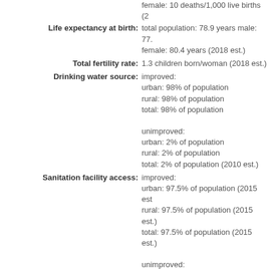female: 10 deaths/1,000 live births (2...
Life expectancy at birth: total population: 78.9 years male: 77... female: 80.4 years (2018 est.)
Total fertility rate: 1.3 children born/woman (2018 est.)
Drinking water source: improved: urban: 98% of population rural: 98% of population total: 98% of population unimproved: urban: 2% of population rural: 2% of population total: 2% of population (2010 est.)
Sanitation facility access: improved: urban: 97.5% of population (2015 est.) rural: 97.5% of population (2015 est.) total: 97.5% of population (2015 est.) unimproved: urban: 2.5% of population (2015 est.) rural: 2.5% of population (2015 est.) total: 2.5% of population (2015 est.)
HIV/AIDS - adult prevalence rate: n/a
HIV/AIDS - people living with HIV/AIDS: n/a
HIV/AIDS - deaths: n/a
Education expenditures: 6.3% of GDP (2015)